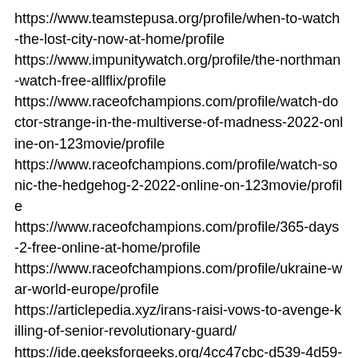https://www.teamstepusa.org/profile/when-to-watch-the-lost-city-now-at-home/profile
https://www.impunitywatch.org/profile/the-northman-watch-free-allflix/profile
https://www.raceofchampions.com/profile/watch-doctor-strange-in-the-multiverse-of-madness-2022-online-on-123movie/profile
https://www.raceofchampions.com/profile/watch-sonic-the-hedgehog-2-2022-online-on-123movie/profile
https://www.raceofchampions.com/profile/365-days-2-free-online-at-home/profile
https://www.raceofchampions.com/profile/ukraine-war-world-europe/profile
https://articlepedia.xyz/irans-raisi-vows-to-avenge-killing-of-senior-revolutionary-guard/
https://ide.geeksforgeeks.org/4cc47cbc-d539-4d59-b42d-f41d8a119b59
https://www.onfeetnation.com/profiles/blogs/chernihiv-